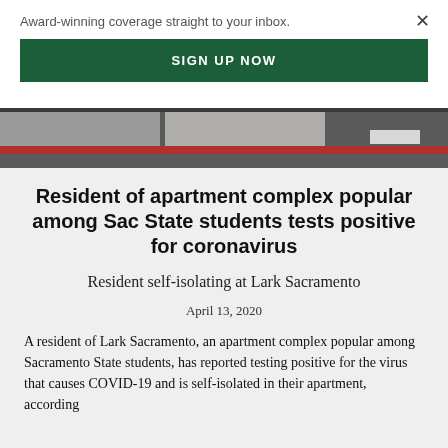Award-winning coverage straight to your inbox.
SIGN UP NOW
[Figure (photo): Aerial or street-level photograph showing pavement/road markings with a red line and white markings on dark asphalt]
Resident of apartment complex popular among Sac State students tests positive for coronavirus
Resident self-isolating at Lark Sacramento
April 13, 2020
A resident of Lark Sacramento, an apartment complex popular among Sacramento State students, has reported testing positive for the virus that causes COVID-19 and is self-isolated in their apartment, according